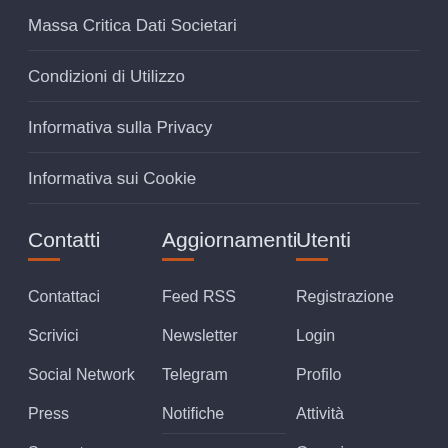Massa Critica Dati Societari
Condizioni di Utilizzo
Informativa sulla Privacy
Informativa sui Cookie
Contatti
Contattaci
Scrivici
Social Network
Press
Supporto
CO2WEB
Aggiornamenti
Feed RSS
Newsletter
Telegram
Notifiche
Startup on Air
Utenti
Registrazione
Login
Profilo
Attività
Gruppi
Notifiche
Amici